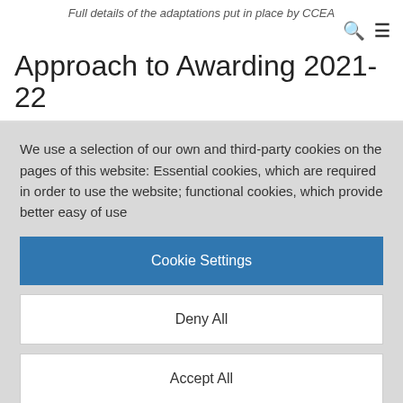Full details of the adaptations put in place by CCEA
Approach to Awarding 2021-22
We use a selection of our own and third-party cookies on the pages of this website: Essential cookies, which are required in order to use the website; functional cookies, which provide better easy of use
Cookie Settings
Deny All
Accept All